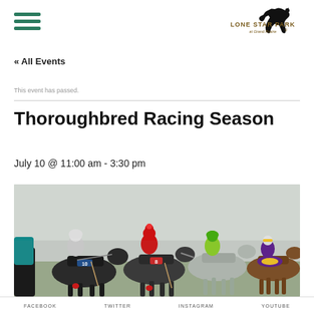[Figure (logo): Lone Star Park at Grand Prairie logo with running horse silhouette and teal/brown text]
« All Events
This event has passed.
Thoroughbred Racing Season
July 10 @ 11:00 am - 3:30 pm
[Figure (photo): Group of jockeys on horses racing closely together on a track, wearing colorful silks including red, yellow/green, white, and purple]
FACEBOOK    TWITTER    INSTAGRAM    YOUTUBE